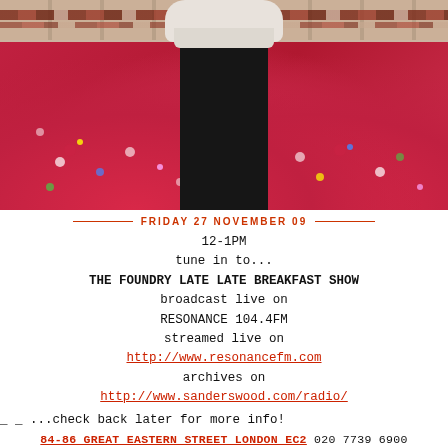[Figure (photo): Person wearing a black balaclava covering their face, with a white mask/covering over the top portion, dressed in a bright pink/red floral patterned shirt. Background shows decorative tiled wall.]
FRIDAY 27 NOVEMBER 09
12-1PM
tune in to...
THE FOUNDRY LATE LATE BREAKFAST SHOW
broadcast live on
RESONANCE 104.4FM
streamed live on
http://www.resonancefm.com
archives on
http://www.sanderswood.com/radio/
_ _ ...check back later for more info!
84-86 GREAT EASTERN STREET LONDON EC2 020 7739 6900